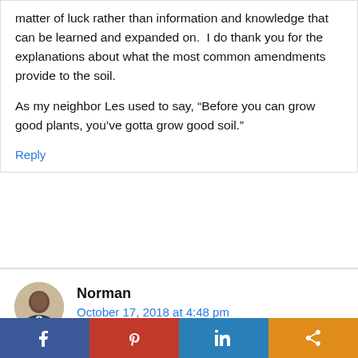matter of luck rather than information and knowledge that can be learned and expanded on.  I do thank you for the explanations about what the most common amendments provide to the soil.
As my neighbor Les used to say, “Before you can grow good plants, you’ve gotta grow good soil.”
Reply
Norman
October 17, 2018 at 4:48 pm
[Figure (infographic): Social share bar with Facebook, Pinterest, LinkedIn, and generic share buttons]